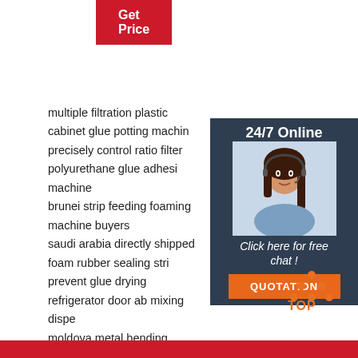[Figure (other): Red 'Get Price' button in top left]
multiple filtration plastic cabinet glue potting machine precisely control ratio filter polyurethane glue adhesive machine
brunei strip feeding foaming machine buyers
saudi arabia directly shipped foam rubber sealing strip
prevent glue drying refrigerator door ab mixing dispenser
moldova metal bending machine trusted users
oman polyurethane foam gasket factory direct sales
qatar sheet metal forming machine factory direct sales
romania great value discount dispensing machine pu x-y table
bahrain foam place gasket machine highest sales volume
singapore sheet metal forming machine complete specifications
ukraine saso ce iso9001 rohs certifications metal sheet press machine
[Figure (other): 24/7 Online sidebar widget with agent photo, 'Click here for free chat!' text and orange QUOTATION button]
[Figure (logo): TOP logo with orange dots arranged in triangle]